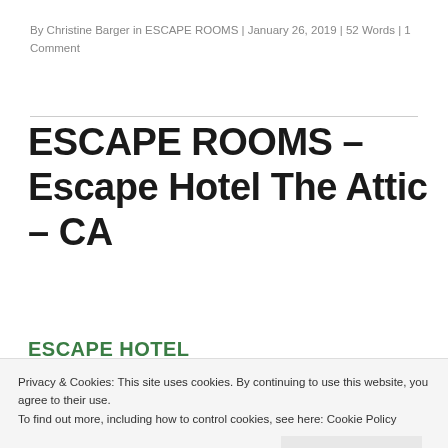By Christine Barger in ESCAPE ROOMS | January 26, 2019 | 52 Words | 1 Comment
ESCAPE ROOMS – Escape Hotel The Attic – CA
ESCAPE HOTEL
Privacy & Cookies: This site uses cookies. By continuing to use this website, you agree to their use.
To find out more, including how to control cookies, see here: Cookie Policy
Close and accept
it to anyone that enjoys a good scare while solving